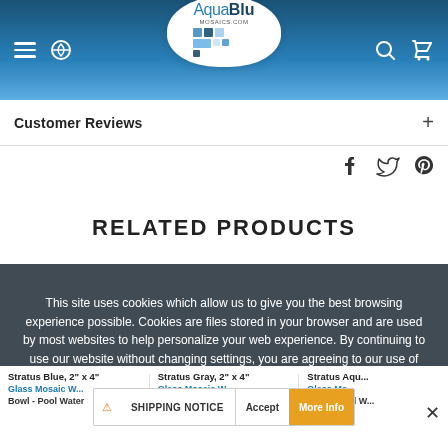[Figure (screenshot): AquaBlu Mosaics website header with navigation icons (hamburger menu, phone icon on left; search and cart icons on right) and centered logo on blue mosaic background]
Customer Reviews +
[Figure (other): Social share icons: Facebook, Twitter, Pinterest]
RELATED PRODUCTS
This site uses cookies which allow us to give you the best browsing experience possible. Cookies are files stored in your browser and are used by most websites to help personalize your web experience. By continuing to use our website without changing settings, you are agreeing to our use of cookies. To find out more, please visit our Privacy Policy.
Stratus Blue, 2" x 4" Glass Mosaic W... Bowl - Pool Water
Stratus Gray, 2" x 4" Glass Mosaic W... Bowl - Pool Water
Stratus Aqu... Glass Mo... Bowl - Pool Water
⚠ SHIPPING NOTICE    Accept    More Info    ✕